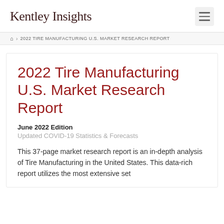Kentley Insights
🏠 › 2022 TIRE MANUFACTURING U.S. MARKET RESEARCH REPORT
2022 Tire Manufacturing U.S. Market Research Report
June 2022 Edition
Updated COVID-19 Statistics & Forecasts
This 37-page market research report is an in-depth analysis of Tire Manufacturing in the United States. This data-rich report utilizes the most extensive set